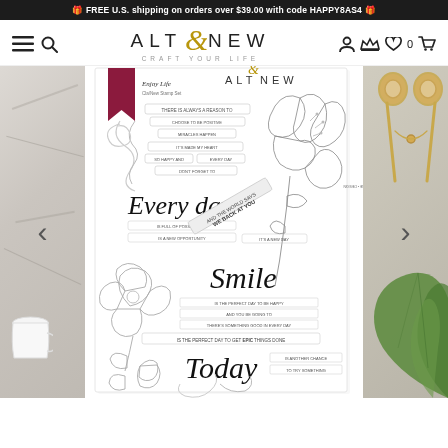🎁 FREE U.S. shipping on orders over $39.00 with code HAPPY8AS4 🎁
ALTENEW — CRAFT YOUR LIFE
[Figure (photo): Altenew 'Enjoy Life' clear stamp set product page showing stamp sheet with floral illustrations, script text 'Every day', 'Smile', 'Today', surrounded by marble background, gold scissors, and tropical leaf props]